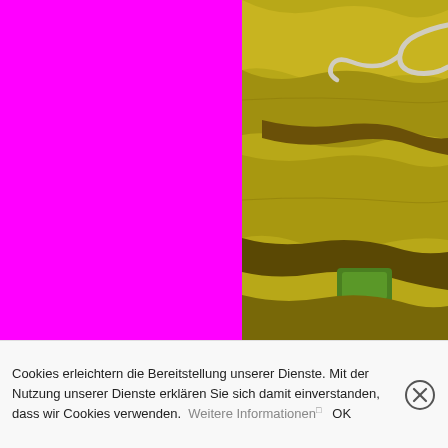[Figure (photo): Left half: solid magenta/fuchsia block. Right half: aerial photograph of terraced hillside with winding road/path through yellow-green and brown terrain with a patch of bright green vegetation.]
Cookies erleichtern die Bereitstellung unserer Dienste. Mit der Nutzung unserer Dienste erklären Sie sich damit einverstanden, dass wir Cookies verwenden. Weitere Informationen OK